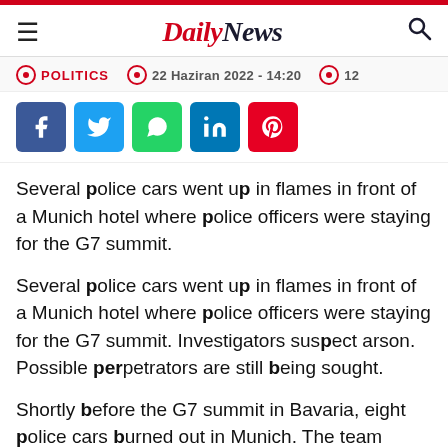Daily News
POLITICS  22 Haziran 2022 - 14:20  12
[Figure (infographic): Social media share buttons: Facebook, Twitter, WhatsApp, LinkedIn, Pinterest]
Several police cars went up in flames in front of a Munich hotel where police officers were staying for the G7 summit.
Several police cars went up in flames in front of a Munich hotel where police officers were staying for the G7 summit. Investigators suspect arson. Possible perpetrators are still being sought.
Shortly before the G7 summit in Bavaria, eight police cars burned out in Munich. The team buses of the federal riot police were all parked in front of a hotel in the early morning, in which the emergency